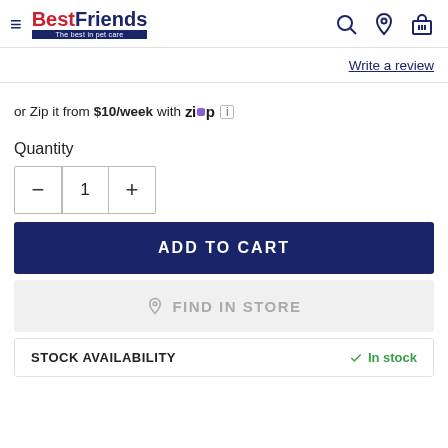BestFriends — The best in pet care
Write a review
or Zip it from $10/week with Zip
Quantity
- 1 +
ADD TO CART
FIND IN STORE
STOCK AVAILABILITY — In stock